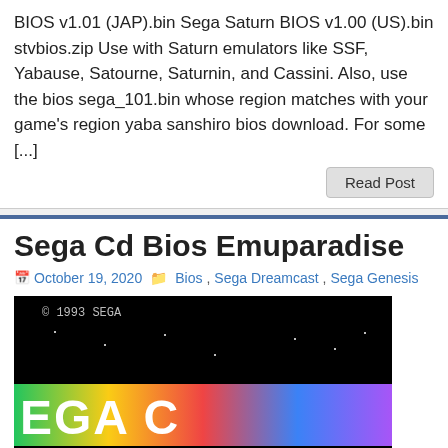BIOS v1.01 (JAP).bin Sega Saturn BIOS v1.00 (US).bin stvbios.zip Use with Saturn emulators like SSF, Yabause, Satourne, Saturnin, and Cassini. Also, use the bios sega_101.bin whose region matches with your game's region yaba sanshiro bios download. For some [...]
Read Post
Sega Cd Bios Emuparadise
October 19, 2020   Bios, Sega Dreamcast, Sega Genesis
[Figure (screenshot): Screenshot of Sega CD BIOS screen showing © 1993 SEGA text, colorful SEGA CD logo bar, SEGA text in blue, and PRESS THE START BUTTON text at the bottom]
Sega Cd Bios Emuparadise and you can know this sega cd usa bios For use with Fusion Emulating Sega CD/Mega CD, 32X, Mega CD 32X and Sega CD 32X games For use with Gens